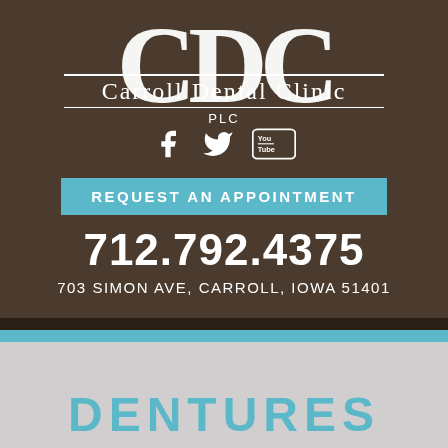[Figure (logo): Carroll Dental Clinic PLC logo with large CDC letters in white on brown background, with social media icons (Facebook, Twitter, YouTube)]
REQUEST AN APPOINTMENT
712.792.4375
703 SIMON AVE, CARROLL, IOWA 51401
DENTURES